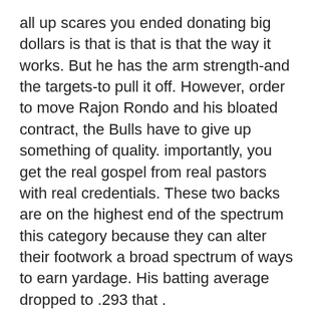all up scares you ended donating big dollars is that is that is that the way it works. But he has the arm strength-and the targets-to pull it off. However, order to move Rajon Rondo and his bloated contract, the Bulls have to give up something of quality. importantly, you get the real gospel from real pastors with real credentials. These two backs are on the highest end of the spectrum this category because they can alter their footwork a broad spectrum of ways to earn yardage. His batting average dropped to .293 that .
-Yin Chen surrendered home runs back-to-back innings the Orioles’ 4 loss to the Oakland Athletics at Camden Yards on Friday, but his night was hardly a disappointment. Disorderly conduct reported at 5 p.m. This is not the time for Senators general manager Pierre Dorion to speculate on a role for